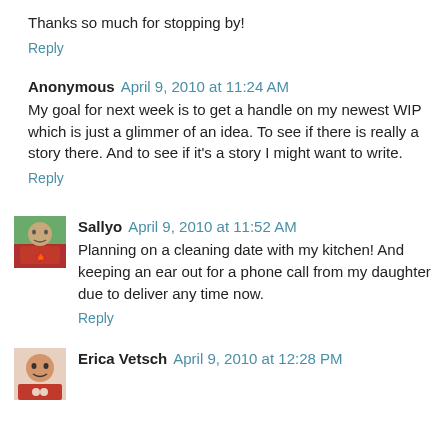Thanks so much for stopping by!
Reply
Anonymous  April 9, 2010 at 11:24 AM
My goal for next week is to get a handle on my newest WIP which is just a glimmer of an idea. To see if there is really a story there. And to see if it's a story I might want to write.
Reply
Sallyo  April 9, 2010 at 11:52 AM
Planning on a cleaning date with my kitchen! And keeping an ear out for a phone call from my daughter due to deliver any time now.
Reply
Erica Vetsch  April 9, 2010 at 12:28 PM